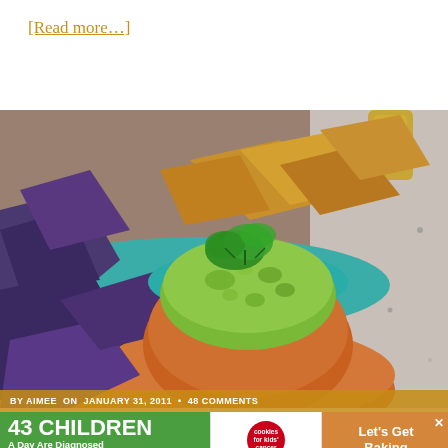[Read more…]
[Figure (photo): A bowl of guacamole garnished with cilantro, served in a terracotta and teal bowl surrounded by blue and yellow corn tortilla chips, with a beer bottle in the background.]
by AIMEE on JANUARY 31, 2011 • 48 COMMENTS
[Figure (other): Advertisement banner: '43 CHILDREN A Day Are Diagnosed With Cancer in the U.S.' with Cookies for Kids Cancer logo and 'Let's Get Baking' call to action.]